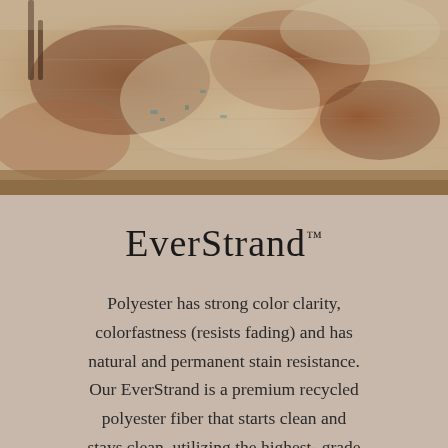[Figure (photo): A decorative area rug with an abstract, distressed pattern in warm browns, rust, teal, and gray tones, shown in a room setting with a chair leg visible, photographed from above.]
EverStrand™
Polyester has strong color clarity, colorfastness (resists fading) and has natural and permanent stain resistance. Our EverStrand is a premium recycled polyester fiber that starts clean and stays clean, utilizing the highest- grade plastic from recycled beverage bottles. Made using up to 100 % recycled content. EverStrand rug fibers are